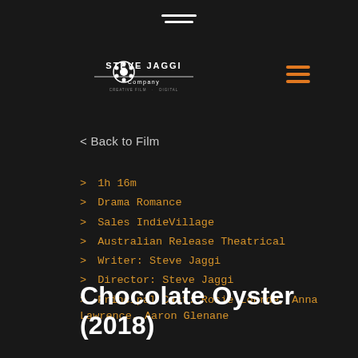[Figure (logo): Steve Jaggi Company logo - white text on dark background with film reel graphic]
< Back to Film
> 1h 16m
> Drama Romance
> Sales IndieVillage
> Australian Release Theatrical
> Writer: Steve Jaggi
> Director: Steve Jaggi
> Principal Cast: Rosie Lourde, Anna Lawrence, Aaron Glenane
Chocolate Oyster (2018)